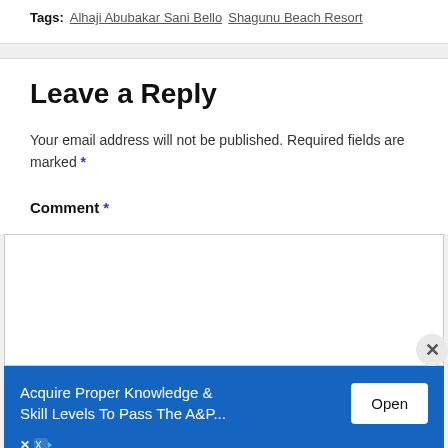Tags: Alhaji Abubakar Sani Bello  Shagunu Beach Resort
Leave a Reply
Your email address will not be published. Required fields are marked *
Comment *
[Figure (screenshot): Empty comment text area input box]
[Figure (infographic): Advertisement banner: 'Acquire Proper Knowledge & Skill Levels To Pass The A&P...' with Open button, on blue background]